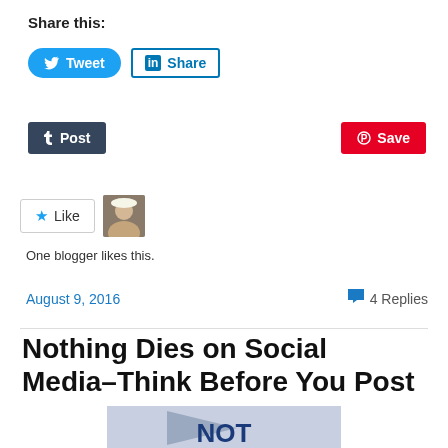Share this:
[Figure (screenshot): Social media share buttons: Tweet (Twitter, blue rounded) and Share (LinkedIn, blue outlined)]
[Figure (screenshot): Tumblr Post button (dark navy) on left, Pinterest Save button (red) on right]
[Figure (screenshot): WordPress Like button with star icon and blogger avatar photo. Text: One blogger likes this.]
One blogger likes this.
August 9, 2016
4 Replies
Nothing Dies on Social Media–Think Before You Post
[Figure (illustration): Partial image showing light blue/grey background with a dark blue arrow shape pointing left and large text 'NOT' partially visible at bottom]